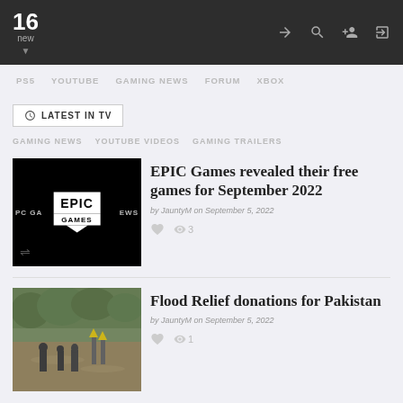16 new
PS5  YOUTUBE  GAMING NEWS  FORUM  XBOX
LATEST IN TV
GAMING NEWS  YOUTUBE VIDEOS  GAMING TRAILERS
[Figure (screenshot): Epic Games logo on black background with PC GA and EWS text on sides, shuffle icon bottom left]
EPIC Games revealed their free games for September 2022
by JauntyM on September 5, 2022
[Figure (photo): Flood scene with people, yellow signs, and murky water in Pakistan]
Flood Relief donations for Pakistan
by JauntyM on September 5, 2022